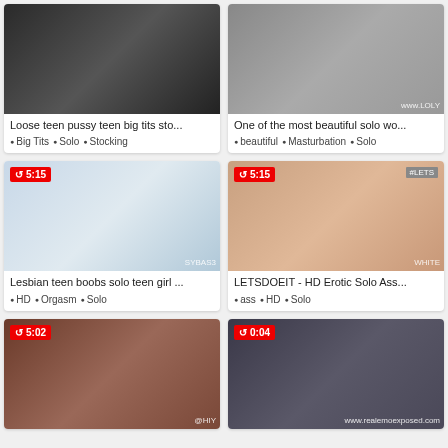[Figure (screenshot): Video thumbnail for 'Loose teen pussy teen big tits sto...' showing two people in a room]
Loose teen pussy teen big tits sto...
Big Tits · Solo · Stocking
[Figure (screenshot): Video thumbnail for 'One of the most beautiful solo wo...' with watermark www.LOLY]
One of the most beautiful solo wo...
beautiful · Masturbation · Solo
[Figure (screenshot): Video thumbnail 5:15 for 'Lesbian teen boobs solo teen girl...' with SYBAS watermark]
Lesbian teen boobs solo teen girl ...
HD · Orgasm · Solo
[Figure (screenshot): Video thumbnail 5:15 for 'LETSDOEIT - HD Erotic Solo Ass...' with #LETS brand tag and WHITE watermark]
LETSDOEIT - HD Erotic Solo Ass...
ass · HD · Solo
[Figure (screenshot): Video thumbnail 5:02 with @HIY watermark]
[Figure (screenshot): Video thumbnail 0:04 with www.realemoexposed.com watermark]